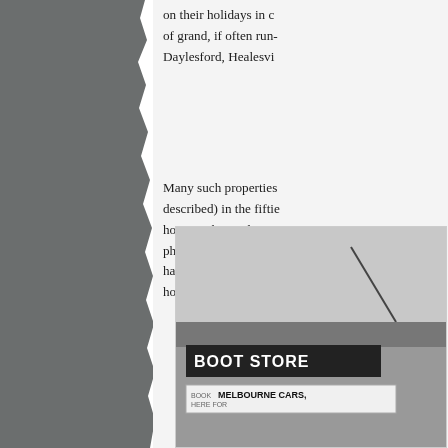[Figure (other): Left portion of page showing a torn grey background, representing a scanned book or document page with a torn paper edge effect on the right side of the grey area.]
on their holidays in c... of grand, if often run-... Daylesford, Healesvi...
Many such properties... described) in the fiftie... horizons beyond man... phone call to 'Louie c... having the forensic s... house, 'Montpellier' i...
[Figure (photo): Black and white photograph showing a building with a 'BOOT STORE' sign and below it a sign reading 'MELBOURNE CARS,' with an awning visible above.]